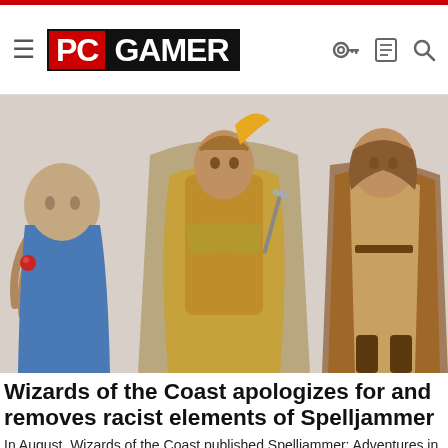PC GAMER
[Figure (illustration): Fantasy RPG character illustrations for Spelljammer: three characters in adventuring gear against a light grey background]
Wizards of the Coast apologizes for and removes racist elements of Spelljammer
In August, Wizards of the Coast published Spelljammer: Adventures in Space, an updated version of a Dungeons & ...
PC Gamer
[Figure (photo): Partial photo of a woman with blonde hair, cropped at bottom of page]